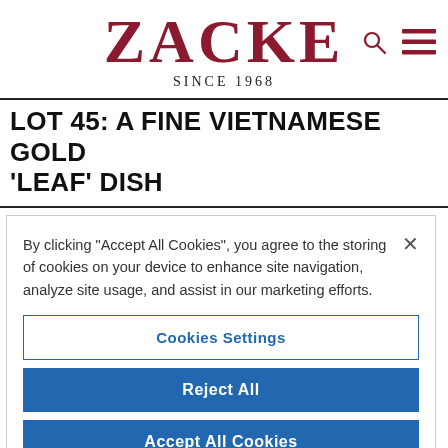ZACKE SINCE 1968
LOT 45: A FINE VIETNAMESE GOLD 'LEAF' DISH
By clicking "Accept All Cookies", you agree to the storing of cookies on your device to enhance site navigation, analyze site usage, and assist in our marketing efforts.
Cookies Settings
Reject All
Accept All Cookies